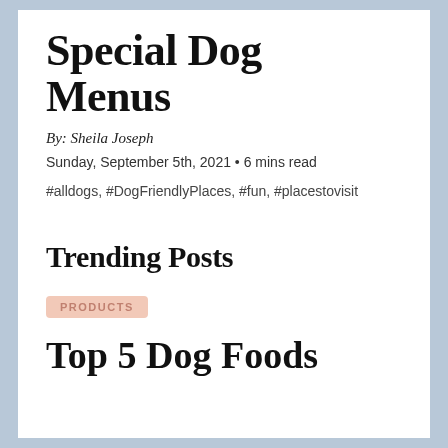Special Dog Menus
By: Sheila Joseph
Sunday, September 5th, 2021 • 6 mins read
#alldogs, #DogFriendlyPlaces, #fun, #placestovisit
Trending Posts
PRODUCTS
Top 5 Dog Foods